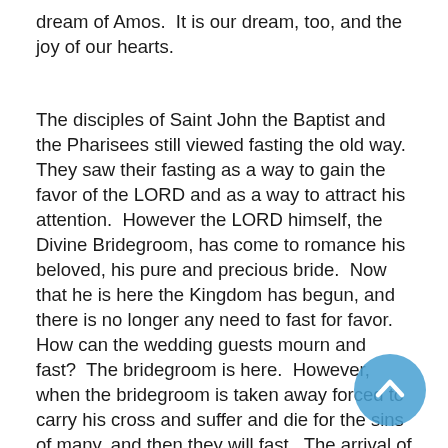dream of Amos.  It is our dream, too, and the joy of our hearts.
The disciples of Saint John the Baptist and the Pharisees still viewed fasting the old way.  They saw their fasting as a way to gain the favor of the LORD and as a way to attract his attention.  However the LORD himself, the Divine Bridegroom, has come to romance his beloved, his pure and precious bride.  Now that he is here the Kingdom has begun, and there is no longer any need to fast for favor.  How can the wedding guests mourn and fast?  The bridegroom is here.  However, when the bridegroom is taken away forced to carry his cross and suffer and die for the sins of many, and then they will fast.  The arrival of the bridegroom is the beginning of the Kingdom.  Until it arrives in its fullness the disciples will fast and mourn and...